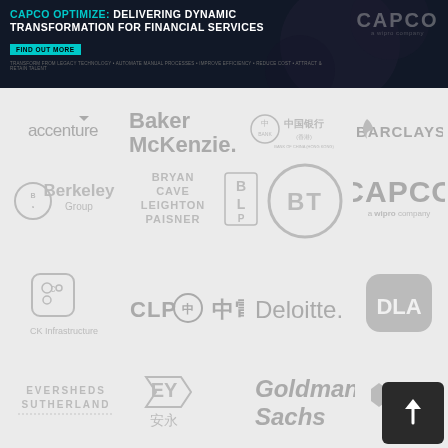[Figure (infographic): Capco advertisement banner: CAPCO OPTIMIZE: DELIVERING DYNAMIC TRANSFORMATION FOR FINANCIAL SERVICES. FIND OUT MORE button. Tagline: TRANSFORM FROM LEGACY TECHNOLOGY • AUTOMATE MANUAL PROCESSES • IMPROVE EFFICIENCY • REDUCE COST • ATTRACT & RETAIN TALENT. Capco a wipro company logo on right.]
[Figure (logo): Accenture logo]
[Figure (logo): Baker McKenzie logo]
[Figure (logo): 中国银行 (Bank of China) logo]
[Figure (logo): Barclays logo]
[Figure (logo): Berkeley Group logo]
[Figure (logo): Bryan Cave Leighton Paisner BLP logo]
[Figure (logo): BT logo]
[Figure (logo): Capco a wipro company logo]
[Figure (logo): CK Infrastructure logo]
[Figure (logo): CLP 中電 logo]
[Figure (logo): Deloitte logo]
[Figure (logo): DLA Piper logo]
[Figure (logo): Eversheds Sutherland logo]
[Figure (logo): EY 安永 logo]
[Figure (logo): Goldman Sachs logo]
[Figure (logo): HSBC logo]